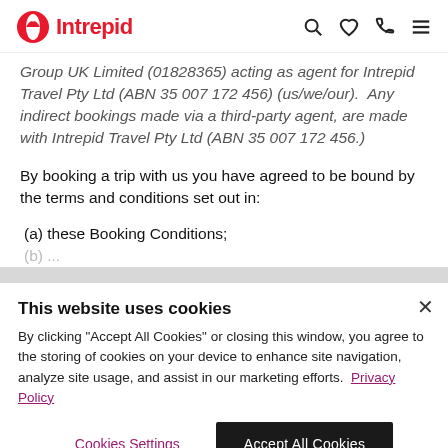Intrepid
Group UK Limited (01828365) acting as agent for Intrepid Travel Pty Ltd (ABN 35 007 172 456) (us/we/our).  Any indirect bookings made via a third-party agent, are made with Intrepid Travel Pty Ltd (ABN 35 007 172 456.)
By booking a trip with us you have agreed to be bound by the terms and conditions set out in:
(a) these Booking Conditions;
This website uses cookies
By clicking "Accept All Cookies" or closing this window, you agree to the storing of cookies on your device to enhance site navigation, analyze site usage, and assist in our marketing efforts.  Privacy Policy
Cookies Settings
Accept All Cookies